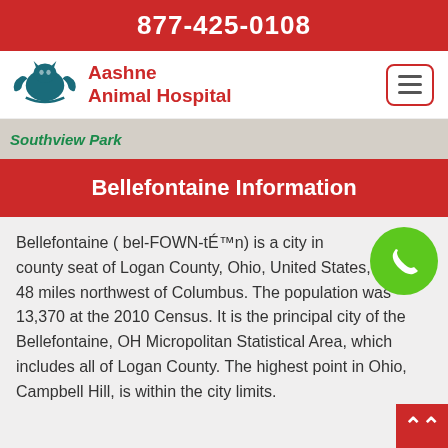877-425-0108
[Figure (logo): Aashne Animal Hospital logo with teal bird/pet and hands icon, red text 'Aashne Animal Hospital']
[Figure (screenshot): Partial map strip showing 'Southview Park' text in green]
Bellefontaine Information
Bellefontaine ( bel-FOWN-tÉ™n) is a city in county seat of Logan County, Ohio, United States, located 48 miles northwest of Columbus. The population was 13,370 at the 2010 Census. It is the principal city of the Bellefontaine, OH Micropolitan Statistical Area, which includes all of Logan County. The highest point in Ohio, Campbell Hill, is within the city limits.